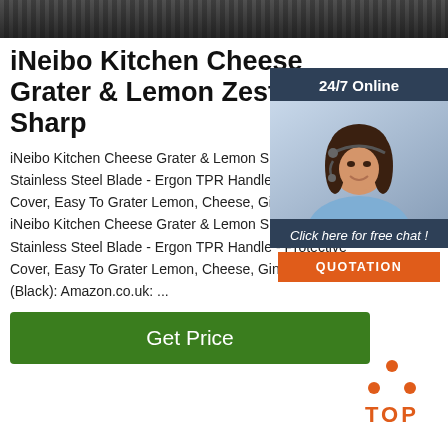[Figure (photo): Partial photo of a dark kitchen grater/zester product at the top of the page]
iNeibo Kitchen Cheese Grater & Lemon Zester - Sharp
iNeibo Kitchen Cheese Grater & Lemon Sharp 18/8 Stainless Steel Blade - Ergon TPR Handle - Protective Cover, Easy To Grater Lemon, Cheese, Gingers, Garlic iNeibo Kitchen Cheese Grater & Lemon Sharp 18/8 Stainless Steel Blade - Ergon TPR Handle - Protective Cover, Easy To Grater Lemon, Cheese, Gingers, Garlic (Black): Amazon.co.uk: ...
[Figure (photo): Customer service agent photo - woman with headset smiling, with 24/7 Online banner, Click here for free chat, and QUOTATION button overlay]
[Figure (other): TOP button icon with orange dots arranged in triangle above orange TOP text]
Get Price